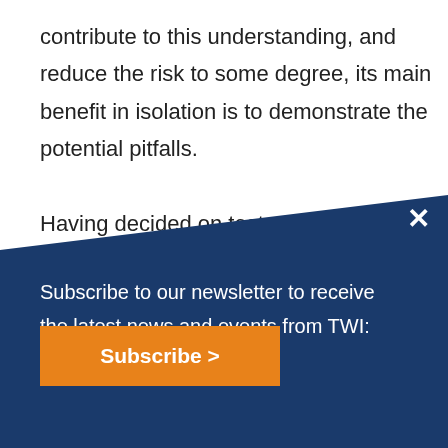contribute to this understanding, and reduce the risk to some degree, its main benefit in isolation is to demonstrate the potential pitfalls.

Having decided on test conditions, decisions also need to be made on whether any pre conditioning is appropriat...
[Figure (screenshot): Newsletter subscription overlay with dark navy blue background and diagonal cut. Contains close (X) button, subscription text, and orange Subscribe button.]
Subscribe to our newsletter to receive the latest news and events from TWI:
Subscribe >